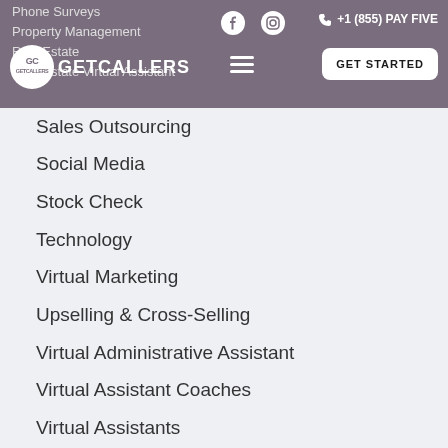Phone Surveys | Property Management | Real Estate | Real Estate Virtual Assistant
[Figure (logo): GetCallers logo with GC circle emblem and text GETCALLERS]
Sales Outsourcing
Social Media
Stock Check
Technology
Virtual Marketing
Upselling & Cross-Selling
Virtual Administrative Assistant
Virtual Assistant Coaches
Virtual Assistants
Virtual Assistant Writers
Data Entry Virtual Assistant
Virtual Executive Assistants
Virtual Marketing Assistant